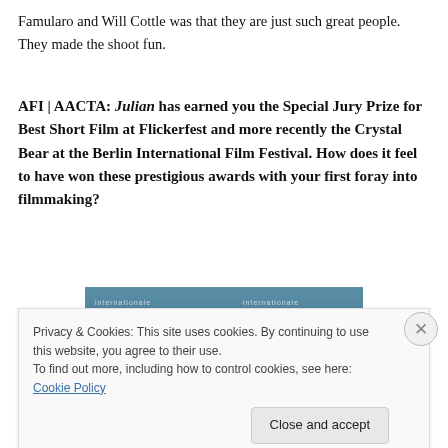Famularo and Will Cottle was that they are just such great people. They made the shoot fun.
AFI | AACTA: Julian has earned you the Special Jury Prize for Best Short Film at Flickerfest and more recently the Crystal Bear at the Berlin International Film Festival. How does it feel to have won these prestigious awards with your first foray into filmmaking?
[Figure (photo): Partial view of a photo, likely from the Berlin International Film Festival, showing hands and a blue banner with 'internationale filmfestspiele' text visible]
Privacy & Cookies: This site uses cookies. By continuing to use this website, you agree to their use.
To find out more, including how to control cookies, see here: Cookie Policy
Close and accept